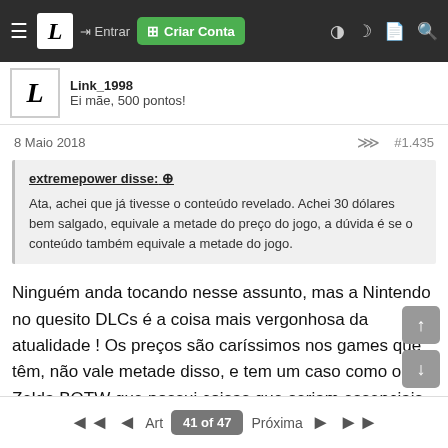Entrar | Criar Conta — navigation bar
Link_1998
Ei mãe, 500 pontos!
8 Maio 2018  #1.435
extremepower disse: ↑
Ata, achei que já tivesse o conteúdo revelado. Achei 30 dólares bem salgado, equivale a metade do preço do jogo, a dúvida é se o conteúdo também equivale a metade do jogo.
Ninguém anda tocando nesse assunto, mas a Nintendo no quesito DLCs é a coisa mais vergonhosa da atualidade ! Os preços são caríssimos nos games que têm, não vale metade disso, e tem um caso como o do Zelda BOTW que possui coisas que seriam essenciais para o bom andamento do game....
◄  ◄  Art  41 of 47  Próxima  ►  ►